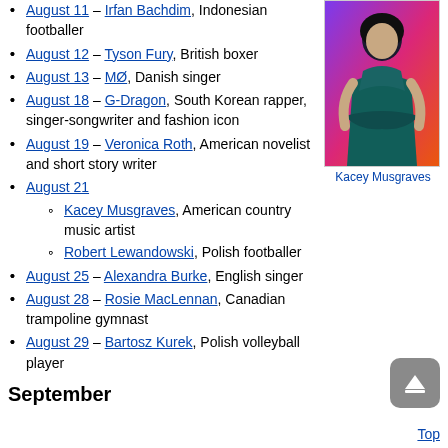August 11 – Irfan Bachdim, Indonesian footballer
August 12 – Tyson Fury, British boxer
August 13 – MØ, Danish singer
August 18 – G-Dragon, South Korean rapper, singer-songwriter and fashion icon
August 19 – Veronica Roth, American novelist and short story writer
August 21
Kacey Musgraves, American country music artist
Robert Lewandowski, Polish footballer
August 25 – Alexandra Burke, English singer
August 28 – Rosie MacLennan, Canadian trampoline gymnast
August 29 – Bartosz Kurek, Polish volleyball player
[Figure (photo): Photo of Kacey Musgraves wearing a green outfit at what appears to be a music awards event]
Kacey Musgraves
September